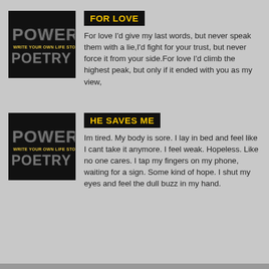[Figure (logo): Power Poetry logo - black background with stylized text POWER and WRITE YOUR OWN LIFE STORY POETRY]
FOR LOVE
For love I'd give my last words, but never speak them with a lie,I'd fight for your trust, but never force it from your side.For love I'd climb the highest peak, but only if it ended with you as my view,
[Figure (logo): Power Poetry logo - black background with stylized text POWER and WRITE YOUR OWN LIFE STORY POETRY]
HE SAVES ME
Im tired. My body is sore. I lay in bed and feel like I cant take it anymore. I feel weak. Hopeless. Like no one cares. I tap my fingers on my phone, waiting for a sign. Some kind of hope. I shut my eyes and feel the dull buzz in my hand.